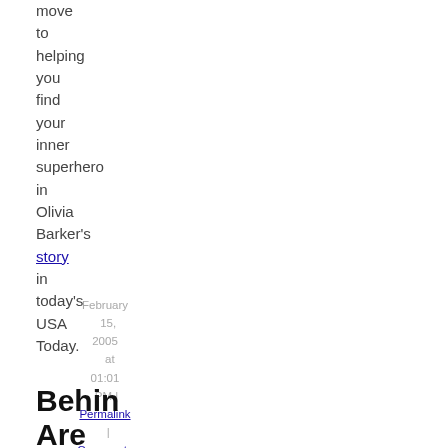move to helping you find your inner superhero in Olivia Barker's story in today's USA Today.
February 15, 2005 at 01:01 PM | Permalink | Comments (0) | TrackBack
Behind Are older